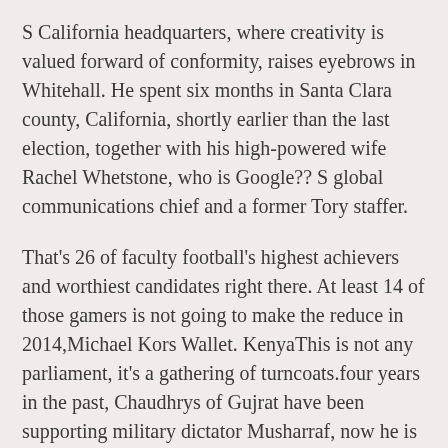S California headquarters, where creativity is valued forward of conformity, raises eyebrows in Whitehall. He spent six months in Santa Clara county, California, shortly earlier than the last election, together with his high-powered wife Rachel Whetstone, who is Google?? S global communications chief and a former Tory staffer.
That's 26 of faculty football's highest achievers and worthiest candidates right there. At least 14 of those gamers is not going to make the reduce in 2014,Michael Kors Wallet. KenyaThis is not any parliament, it's a gathering of turncoats.four years in the past, Chaudhrys of Gujrat have been supporting military dictator Musharraf, now he is talking about rights of the parliament!